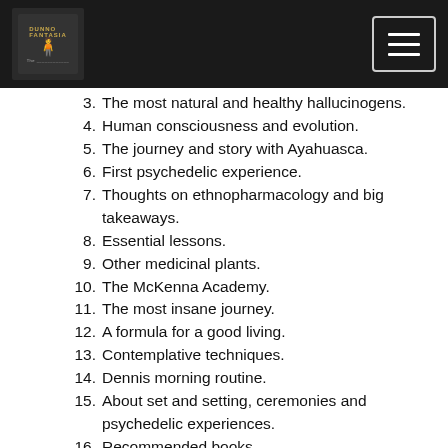Dunno Fantasia Podcast
3. The most natural and healthy hallucinogens.
4. Human consciousness and evolution.
5. The journey and story with Ayahuasca.
6. First psychedelic experience.
7. Thoughts on ethnopharmacology and big takeaways.
8. Essential lessons.
9. Other medicinal plants.
10. The McKenna Academy.
11. The most insane journey.
12. A formula for a good living.
13. Contemplative techniques.
14. Dennis morning routine.
15. About set and setting, ceremonies and psychedelic experiences.
16. Recommended books.
17. Advice for psychedelic newbies.
18. Advice to experienced psychonauts.
"You have to acknowledge what little we know"
Podcast show notes